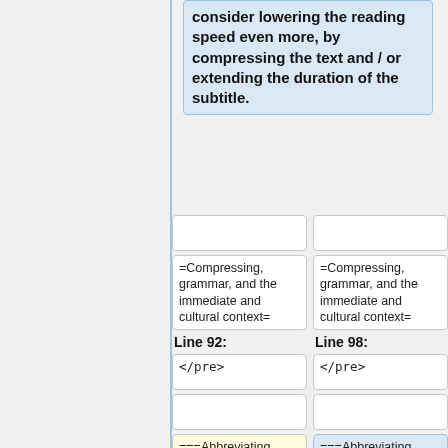consider lowering the reading speed even more, by compressing the text and / or extending the duration of the subtitle.
=Compressing, grammar, and the immediate and cultural context=
=Compressing, grammar, and the immediate and cultural context=
Line 92:
Line 98:
</pre>
</pre>
===Abbreviating
===Abbreviating